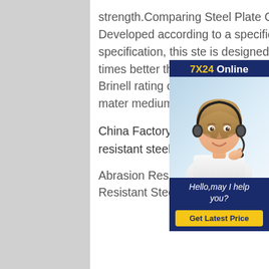strength.Comparing Steel Plate GradesAbrasion resistant steel Developed according to a specific carbon-manganese specification, this ste... is designed to withstand wear res... many times better than ordinary s... plate. AR360 This plate offers min... Brinell rating of 360 and a tensile ... of 177,000 psi, ranking the mater... medium for hardness and strengt...
[Figure (infographic): Customer service chat widget showing '7X24 Online' header in navy blue with yellow text, a photo of a smiling woman wearing a headset, a message 'Hello,may I help you?' and a 'Get Latest Price' yellow button.]
China Factory Price Ar500 20mm Plate for Sale supply wear resistant steel plates ar360 ar400 ar500
Abrasion Resistant Steel Plate, Wear Resistant Plate, Wear Resistant Steel Plate manufacturer / supplier in China,